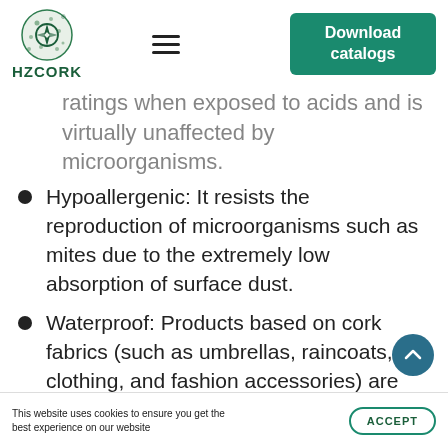[Figure (logo): HZCORK logo: circular green emblem with compass-like design, text HZCORK below in dark green]
ratings when exposed to acids and is virtually unaffected by microorganisms.
Hypoallergenic: It resists the reproduction of microorganisms such as mites due to the extremely low absorption of surface dust.
Waterproof: Products based on cork fabrics (such as umbrellas, raincoats, clothing, and fashion accessories) are possible due to the natural properties of
This website uses cookies to ensure you get the best experience on our website
ACCEPT